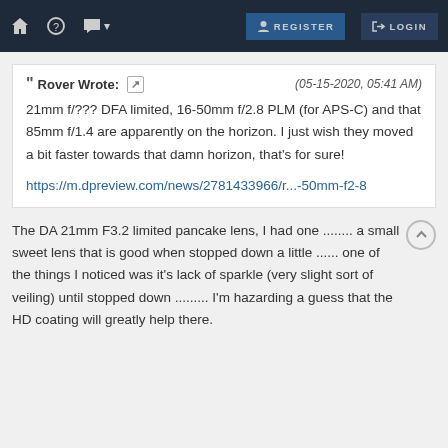REGISTER  LOGIN (navigation bar)
❝ Rover Wrote:  (05-15-2020, 05:41 AM)
21mm f/??? DFA limited, 16-50mm f/2.8 PLM (for APS-C) and that 85mm f/1.4 are apparently on the horizon. I just wish they moved a bit faster towards that damn horizon, that's for sure!

https://m.dpreview.com/news/2781433966/r...-50mm-f2-8
The DA 21mm F3.2 limited pancake lens, I had one ........ a small sweet lens that is good when stopped down a little ...... one of the things I noticed was it's lack of sparkle (very slight sort of veiling) until stopped down ......... I'm hazarding a guess that the HD coating will greatly help there.